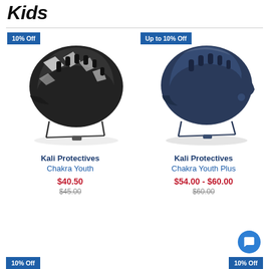Kids
[Figure (photo): Black and white patterned youth bike helmet (Kali Protectives Chakra Youth) with '10% Off' badge]
Kali Protectives
Chakra Youth
$40.50
$45.00
[Figure (photo): Dark navy blue youth bike helmet (Kali Protectives Chakra Youth Plus) with 'Up to 10% Off' badge]
Kali Protectives
Chakra Youth Plus
$54.00 - $60.00
$60.00
10% Off
10% Off